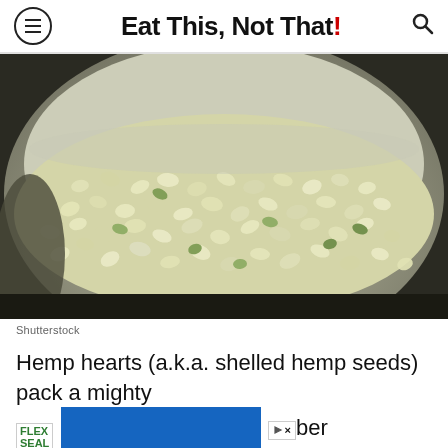Eat This, Not That!
[Figure (photo): Close-up photo of shelled hemp seeds (hemp hearts) in a stainless steel bowl, showing small pale yellow-green seeds piled up.]
Shutterstock
Hemp hearts (a.k.a. shelled hemp seeds) pack a mighty [ad overlay] ber per 3-t [ad overlay] in